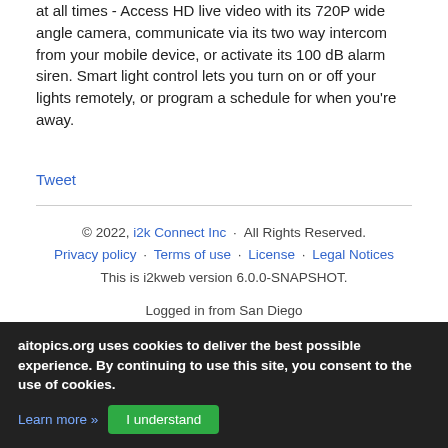at all times - Access HD live video with its 720P wide angle camera, communicate via its two way intercom from your mobile device, or activate its 100 dB alarm siren. Smart light control lets you turn on or off your lights remotely, or program a schedule for when you're away.
Tweet
© 2022, i2k Connect Inc · All Rights Reserved. Privacy policy · Terms of use · License · Legal Notices This is i2kweb version 6.0.0-SNAPSHOT. Logged in from San Diego Site Feedback
aitopics.org uses cookies to deliver the best possible experience. By continuing to use this site, you consent to the use of cookies. Learn more » I understand